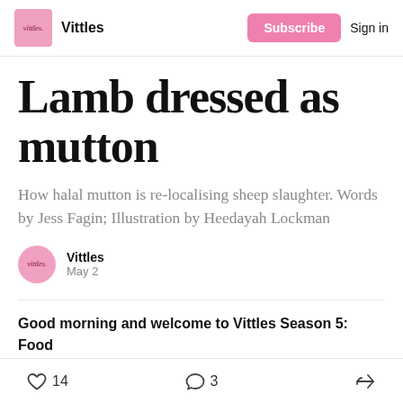Vittles | Subscribe | Sign in
Lamb dressed as mutton
How halal mutton is re-localising sheep slaughter. Words by Jess Fagin; Illustration by Heedayah Lockman
Vittles
May 2
Good morning and welcome to Vittles Season 5: Food
14 likes  3 comments  share